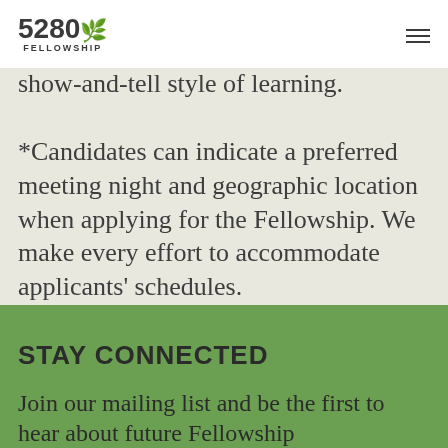5280 FELLOWSHIP
show-and-tell style of learning.
*Candidates can indicate a preferred meeting night and geographic location when applying for the Fellowship. We make every effort to accommodate applicants' schedules.
STAY CONNECTED
Join our mailing list and be the first to hear about future Fellowship opportunities.